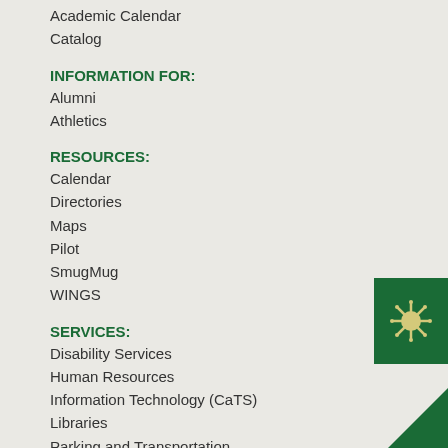Academic Calendar
Catalog
INFORMATION FOR:
Alumni
Athletics
RESOURCES:
Calendar
Directories
Maps
Pilot
SmugMug
WINGS
SERVICES:
Disability Services
Human Resources
Information Technology (CaTS)
Libraries
Parking and Transportation
RaiderConnect (Enrollment Services)
[Figure (illustration): Green COVID-19 virus icon on a dark green background square in the bottom right corner. A green arrow/shape at the bottom center-right.]